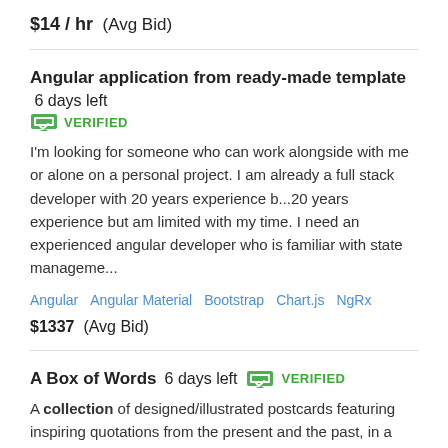$14 / hr  (Avg Bid)
Angular application from ready-made template  6 days left   VERIFIED
I'm looking for someone who can work alongside with me or alone on a personal project. I am already a full stack developer with 20 years experience b...20 years experience but am limited with my time. I need an experienced angular developer who is familiar with state manageme...
Angular   Angular Material   Bootstrap   Chart.js   NgRx
$1337  (Avg Bid)
A Box of Words  6 days left   VERIFIED
A collection of designed/illustrated postcards featuring inspiring quotations from the present and the past, in a presentation box to be sold in aid of Ukrainian...